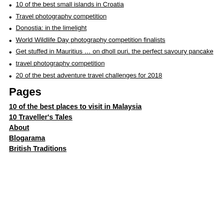10 of the best small islands in Croatia
Travel photography competition
Donostia: in the limelight
World Wildlife Day photography competition finalists
Get stuffed in Mauritius … on dholl puri, the perfect savoury pancake
travel photography competition
20 of the best adventure travel challenges for 2018
Pages
10 of the best places to visit in Malaysia
10 Traveller's Tales
About
Blogarama
British Traditions